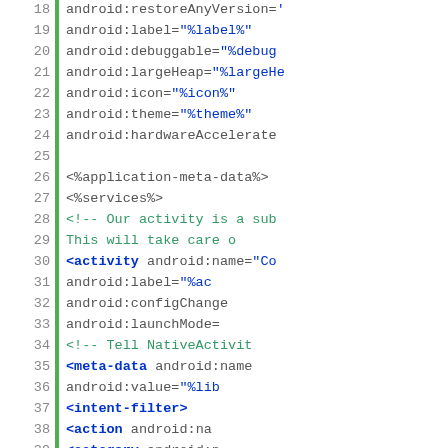[Figure (screenshot): Code snippet showing Android XML manifest file lines 18-42, with line numbers on the left, a green vertical bar separator, and syntax-highlighted XML code including android attributes, activity tags, meta-data, intent-filter, action, and category elements.]